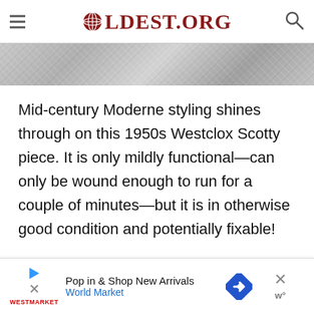OLDEST.ORG
[Figure (photo): Grayscale textured stone or marble surface strip]
Mid-century Moderne styling shines through on this 1950s Westclox Scotty piece. It is only mildly functional—can only be wound enough to run for a couple of minutes—but it is in otherwise good condition and potentially fixable!
[Figure (screenshot): Advertisement banner: Pop in & Shop New Arrivals - World Market, with navigation arrow icon and close button]